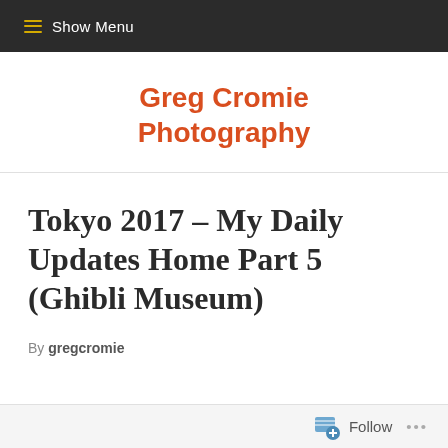≡ Show Menu
Greg Cromie Photography
Tokyo 2017 – My Daily Updates Home Part 5 (Ghibli Museum)
By gregcromie
Follow ...